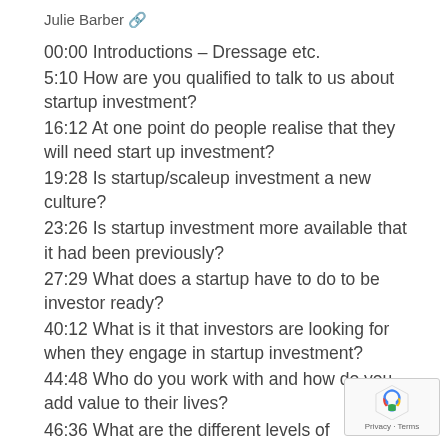Julie Barber 🔗
00:00 Introductions – Dressage etc.
5:10 How are you qualified to talk to us about startup investment?
16:12 At one point do people realise that they will need start up investment?
19:28 Is startup/scaleup investment a new culture?
23:26 Is startup investment more available that it had been previously?
27:29 What does a startup have to do to be investor ready?
40:12 What is it that investors are looking for when they engage in startup investment?
44:48 Who do you work with and how do you add value to their lives?
46:36 What are the different levels of